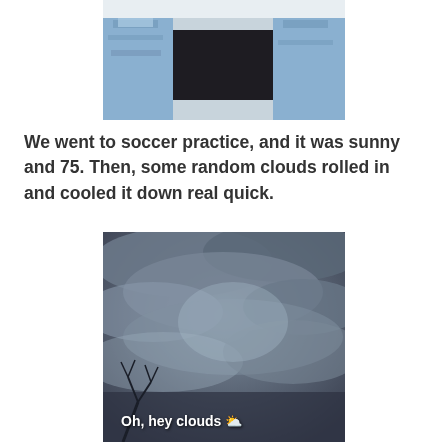[Figure (photo): Partial view of person sitting, wearing ripped jeans and dark pants, cropped photo from above]
We went to soccer practice, and it was sunny and 75. Then, some random clouds rolled in and cooled it down real quick.
[Figure (photo): Photo of overcast dark cloudy sky with bare tree branches visible at bottom left, with text overlay reading 'Oh, hey clouds ⛅']